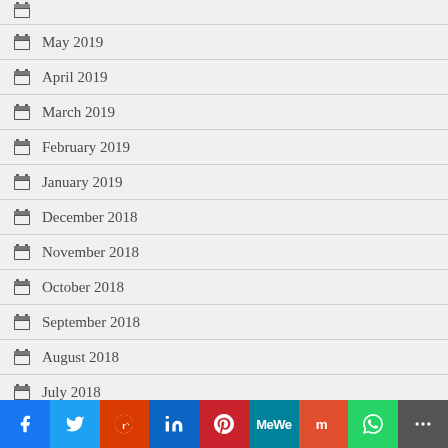May 2019
April 2019
March 2019
February 2019
January 2019
December 2018
November 2018
October 2018
September 2018
August 2018
July 2018
June 2018
May 2018
Facebook Twitter Reddit LinkedIn Pinterest MeWe Mix WhatsApp More